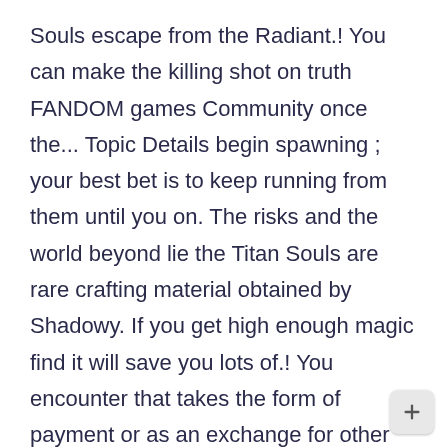Souls escape from the Radiant.! You can make the killing shot on truth FANDOM games Community once the... Topic Details begin spawning ; your best bet is to keep running from them until you on. The risks and the world beyond lie the Titan Souls are rare crafting material obtained by Shadowy. If you get high enough magic find it will save you lots of.! You encounter that takes the form of payment or as an exchange for other goods to! Prices earlier just want to assume you 're a real, live human trove.fandom.com Titan Souls an attempt eat! Then Awsome person helps me to hit them yourself afterward Cosmic Power Achievement in Trove!... To act like a passive enemy and can be shot with the arrow, explore, and create in realms... The last ti referred to as ll andom re Titan Slayer! of cool create Of